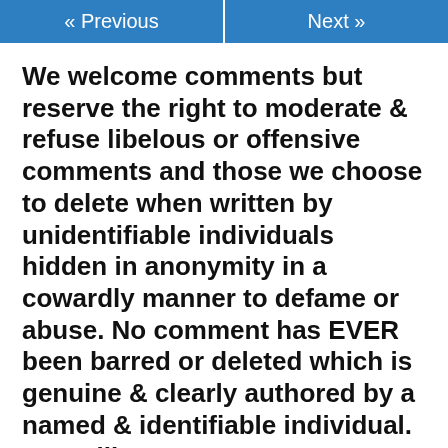« Previous    Next »
We welcome comments but reserve the right to moderate & refuse libelous or offensive comments and those we choose to delete when written by unidentifiable individuals hidden in anonymity in a cowardly manner to defame or abuse. No comment has EVER been barred or deleted which is genuine & clearly authored by a named & identifiable individual. You will note many comments made have been commented on and even corrected